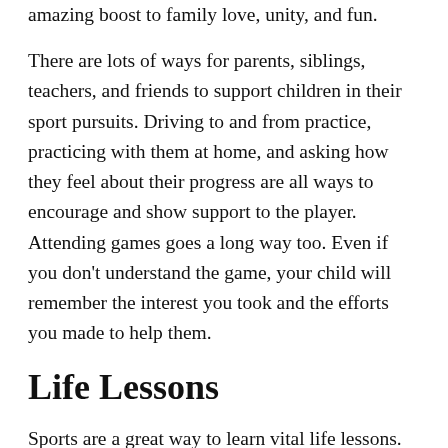amazing boost to family love, unity, and fun.
There are lots of ways for parents, siblings, teachers, and friends to support children in their sport pursuits. Driving to and from practice, practicing with them at home, and asking how they feel about their progress are all ways to encourage and show support to the player. Attending games goes a long way too. Even if you don't understand the game, your child will remember the interest you took and the efforts you made to help them.
Life Lessons
Sports are a great way to learn vital life lessons. Children are faced with a relatively low–risk struggle (winning the game) that they are able overcome in a safe environment. By learning skills like problem solving, perseverance, and humility, children can take